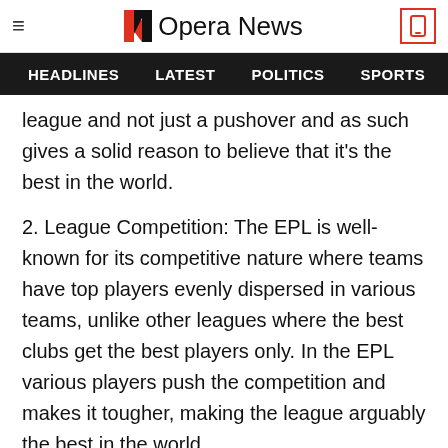Opera News
HEADLINES  LATEST  POLITICS  SPORTS
league and not just a pushover and as such gives a solid reason to believe that it's the best in the world.
2. League Competition: The EPL is well-known for its competitive nature where teams have top players evenly dispersed in various teams, unlike other leagues where the best clubs get the best players only. In the EPL various players push the competition and makes it tougher, making the league arguably the best in the world.
[Figure (other): Red button with downward chevron/arrow icon]